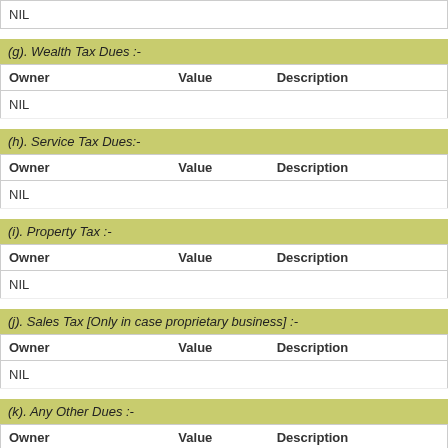NIL
(g). Wealth Tax Dues :-
| Owner | Value | Description |
| --- | --- | --- |
| NIL |  |  |
(h). Service Tax Dues:-
| Owner | Value | Description |
| --- | --- | --- |
| NIL |  |  |
(i). Property Tax :-
| Owner | Value | Description |
| --- | --- | --- |
| NIL |  |  |
(j). Sales Tax [Only in case proprietary business] :-
| Owner | Value | Description |
| --- | --- | --- |
| NIL |  |  |
(k). Any Other Dues :-
| Owner | Value | Description |
| --- | --- | --- |